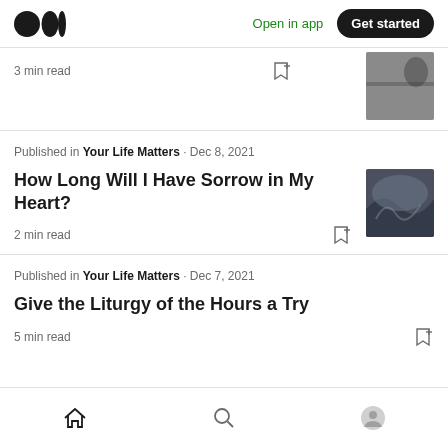Medium logo | Open in app | Get started
3 min read
Published in Your Life Matters · Dec 8, 2021
How Long Will I Have Sorrow in My Heart?
2 min read
Published in Your Life Matters · Dec 7, 2021
Give the Liturgy of the Hours a Try
5 min read
Bottom navigation: Home, Search, Profile